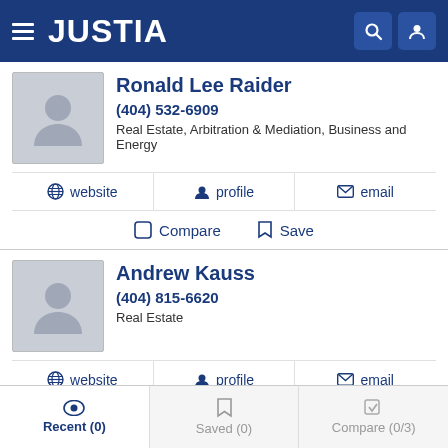JUSTIA
Ronald Lee Raider
(404) 532-6909
Real Estate, Arbitration & Mediation, Business and Energy
website | profile | email
Compare | Save
Andrew Kauss
(404) 815-6620
Real Estate
website | profile | email
Recent (0) | Saved (0) | Compare (0/3)